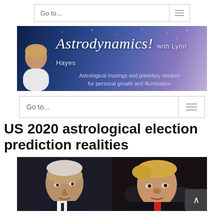Go to...
[Figure (illustration): Astrodynamics! with Lynn Hayes banner — blue/purple starry background with woman's photo, italic serif title and tagline 'Astrological musings and planetary wisdom for personal growth and illumination']
Go to...
US 2020 astrological election prediction realities
[Figure (photo): Side-by-side photos of Joe Biden (left) and Donald Trump (right) against dark backgrounds]